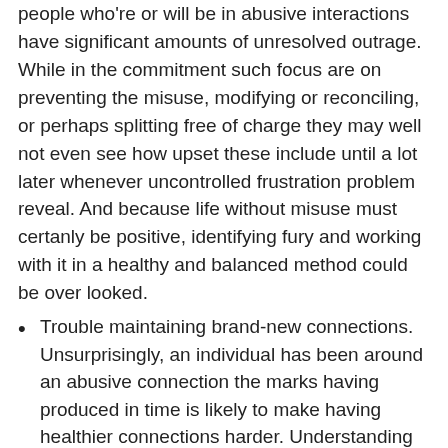people who're or will be in abusive interactions have significant amounts of unresolved outrage. While in the commitment such focus are on preventing the misuse, modifying or reconciling, or perhaps splitting free of charge they may well not even see how upset these include until a lot later whenever uncontrolled frustration problem reveal. And because life without misuse must certanly be positive, identifying fury and working with it in a healthy and balanced method could be over looked.
Trouble maintaining brand-new connections. Unsurprisingly, an individual has been around an abusive connection the marks having produced in time is likely to make having healthier connections harder. Understanding how to have interaction with some body in an ordinary ways, with appreciate, regard and equality can need to be relearned.
Failure to count on. Assuming that anybody has your best passions at heart when you've come mistreated